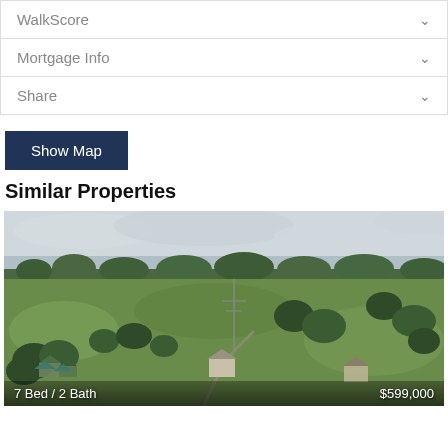WalkScore
Mortgage Info
Share
Show Map
Similar Properties
[Figure (photo): Aerial drone photo of a rural property with green fields, trees, and scattered houses under overcast sky]
7 Bed / 2 Bath   $599,000